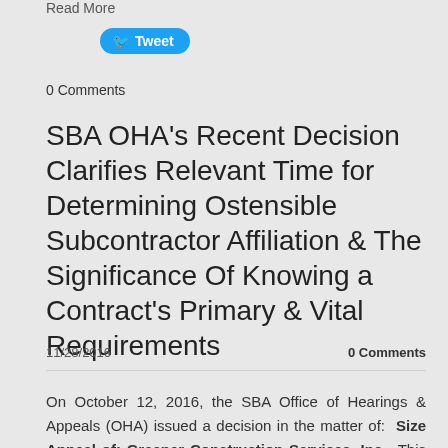Read More
[Figure (other): Twitter Tweet button in blue with bird icon]
0 Comments
SBA OHA's Recent Decision Clarifies Relevant Time for Determining Ostensible Subcontractor Affiliation & The Significance Of Knowing a Contract's Primary & Vital Requirements
11/28/2016
0 Comments
On October 12, 2016, the SBA Office of Hearings & Appeals (OHA) issued a decision in the matter of: Size Appeal of: Greener Construction Services, Inc. This appeal arose out of the SBA's size determination which concluded that Greener Construction Services, Inc